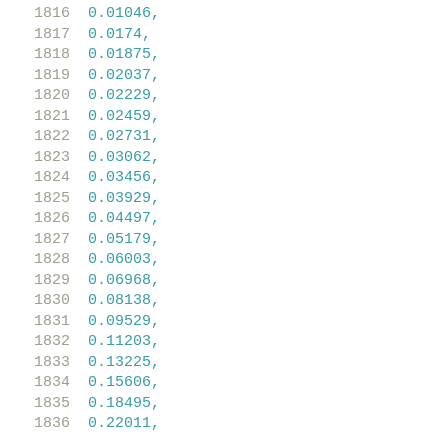1816    0.01046,
1817    0.0174,
1818    0.01875,
1819    0.02037,
1820    0.02229,
1821    0.02459,
1822    0.02731,
1823    0.03062,
1824    0.03456,
1825    0.03929,
1826    0.04497,
1827    0.05179,
1828    0.06003,
1829    0.06968,
1830    0.08138,
1831    0.09529,
1832    0.11203,
1833    0.13225,
1834    0.15606,
1835    0.18495,
1836    0.22011,